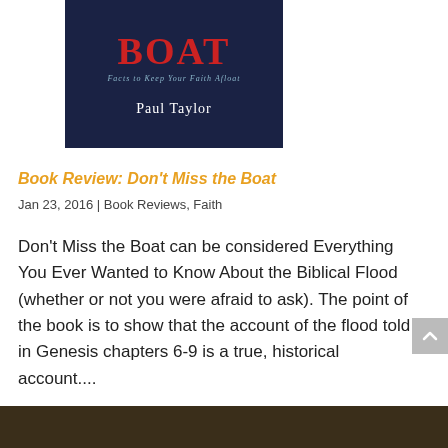[Figure (illustration): Book cover of 'Don't Miss the Boat' by Paul Taylor. Dark navy background with large red bold title text 'BOAT' visible at top, subtitle 'Facts to Keep Your Faith Afloat' in light blue italic, and author name 'Paul Taylor' in white at bottom.]
Book Review: Don't Miss the Boat
Jan 23, 2016 | Book Reviews, Faith
Don't Miss the Boat can be considered Everything You Ever Wanted to Know About the Biblical Flood (whether or not you were afraid to ask). The point of the book is to show that the account of the flood told in Genesis chapters 6-9 is a true, historical account....
[Figure (photo): Bottom portion of page showing the top edge of another image, dark brownish/olive tones.]